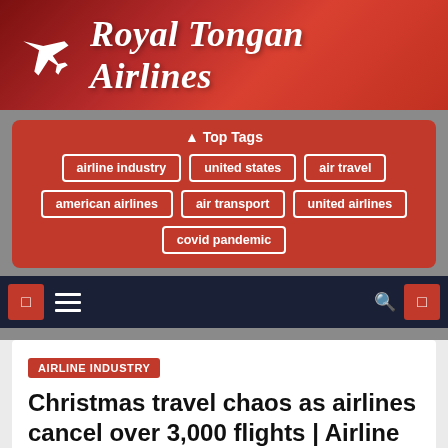[Figure (logo): Royal Tongan Airlines logo banner with airplane icon on dark red gradient background]
Top Tags
airline industry
united states
air travel
american airlines
air transport
united airlines
covid pandemic
Navigation bar with menu, search, and action buttons
AIRLINE INDUSTRY
Christmas travel chaos as airlines cancel over 3,000 flights | Airline industry